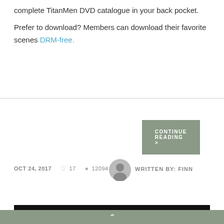complete TitanMen DVD catalogue in your back pocket. Prefer to download? Members can download their favorite scenes DRM-free.
CONTINUE READING >
Flashback: What is the nastiest thing you've ever done at Folsom?
OCT 24, 2017  ♡ 17  ● 12094  WRITTEN BY: FINN
TITAN MEN AT LARGE · VIDEO